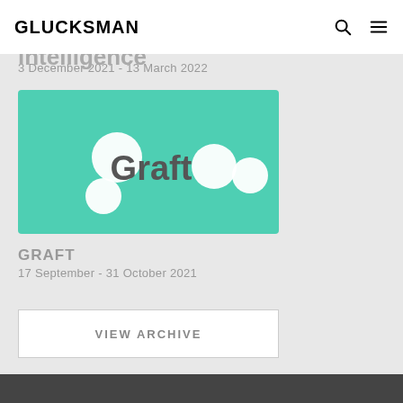GLUCKSMAN
Data Streams: Art, algorithms and artificial intelligence
3 December 2021 - 13 March 2022
[Figure (illustration): Teal/turquoise rectangle with text 'Graft' in dark grey and white circles of varying sizes scattered around the text on a mint green background]
GRAFT
17 September - 31 October 2021
VIEW ARCHIVE